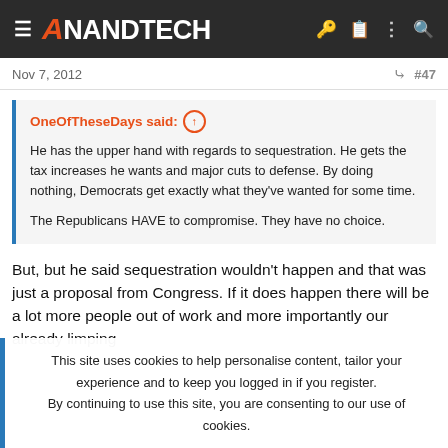AnandTech
Nov 7, 2012  #47
OneOfTheseDays said: ↑

He has the upper hand with regards to sequestration. He gets the tax increases he wants and major cuts to defense. By doing nothing, Democrats get exactly what they've wanted for some time.

The Republicans HAVE to compromise. They have no choice.
But, but he said sequestration wouldn't happen and that was just a proposal from Congress. If it does happen there will be a lot more people out of work and more importantly our already limping
This site uses cookies to help personalise content, tailor your experience and to keep you logged in if you register.
By continuing to use this site, you are consenting to our use of cookies.